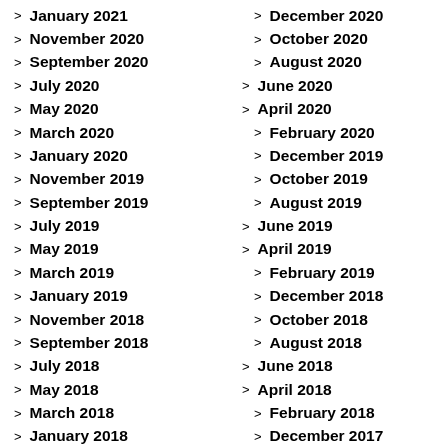January 2021
December 2020
November 2020
October 2020
September 2020
August 2020
July 2020
June 2020
May 2020
April 2020
March 2020
February 2020
January 2020
December 2019
November 2019
October 2019
September 2019
August 2019
July 2019
June 2019
May 2019
April 2019
March 2019
February 2019
January 2019
December 2018
November 2018
October 2018
September 2018
August 2018
July 2018
June 2018
May 2018
April 2018
March 2018
February 2018
January 2018
December 2017